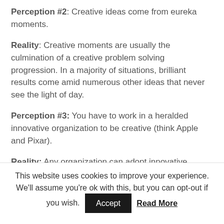Perception #2: Creative ideas come from eureka moments.
Reality: Creative moments are usually the culmination of a creative problem solving progression. In a majority of situations, brilliant results come amid numerous other ideas that never see the light of day.
Perception #3: You have to work in a heralded innovative organization to be creative (think Apple and Pixar).
Reality: Any organization can adopt innovative practices, and any individual can use innovative principles.
This website uses cookies to improve your experience. We'll assume you're ok with this, but you can opt-out if you wish. Accept Read More